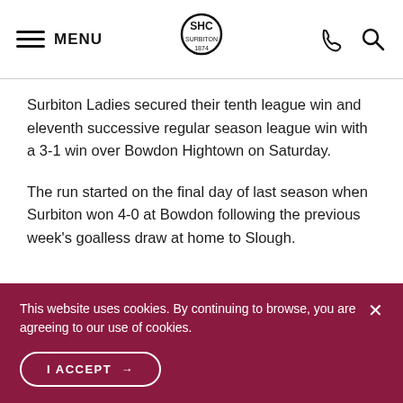MENU | Surbiton 1874 logo | phone icon | search icon
Surbiton Ladies secured their tenth league win and eleventh successive regular season league win with a 3-1 win over Bowdon Hightown on Saturday.
The run started on the final day of last season when Surbiton won 4-0 at Bowdon following the previous week's goalless draw at home to Slough.
This website uses cookies. By continuing to browse, you are agreeing to our use of cookies.
I ACCEPT →